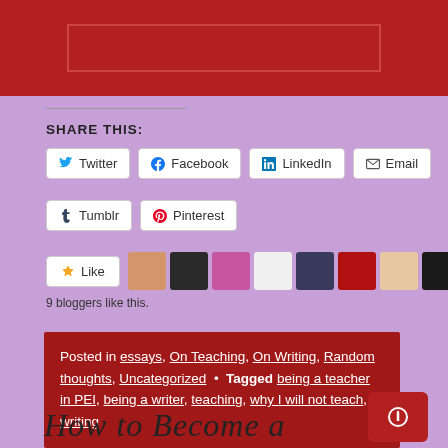[Figure (illustration): Red banner with darker red inner rectangle outline at top of page]
SHARE THIS:
Twitter  Facebook  LinkedIn  Email  Tumblr  Pinterest (social share buttons)
Like  9 bloggers like this.
Posted in essays, On Teaching, On Writing, Random thoughts, Uncategorized • Tagged being a teacher in PEI, being a writer, teaching, why I will not teach, writing
How to Become a